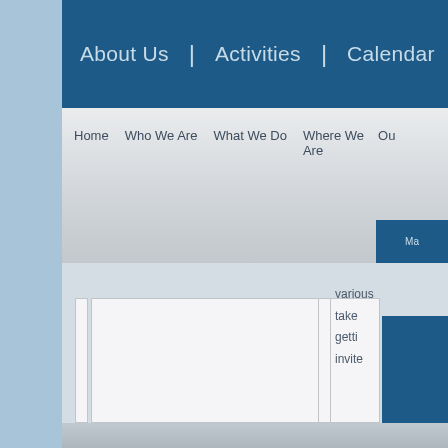About Us  |  Activities  |  Calendar
Home  Who We Are  What We Do  Where We Are  Ou...
various
take
getti
invite
[Figure (screenshot): We Recommend vertical sidebar tab in dark blue]